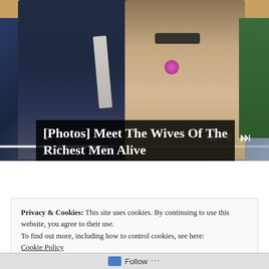[Figure (photo): A man in a dark navy suit with a light grey tie and a woman with long brown hair wearing sunglasses and a beige textured top with a pink flower, seated in what appear to be stands with wooden seats. Playback controls and a progress bar are visible on the image.]
[Photos] Meet The Wives Of The Richest Men Alive
Privacy & Cookies: This site uses cookies. By continuing to use this website, you agree to their use.
To find out more, including how to control cookies, see here:
Cookie Policy
Follow ...